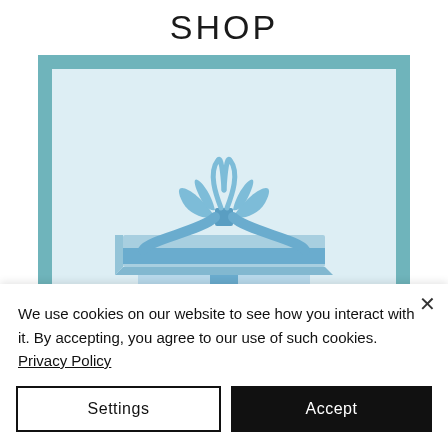SHOP
[Figure (illustration): An open gift box with a bow on top, illustrated in shades of blue on a light blue background with a teal border frame.]
We use cookies on our website to see how you interact with it. By accepting, you agree to our use of such cookies. Privacy Policy
Settings
Accept